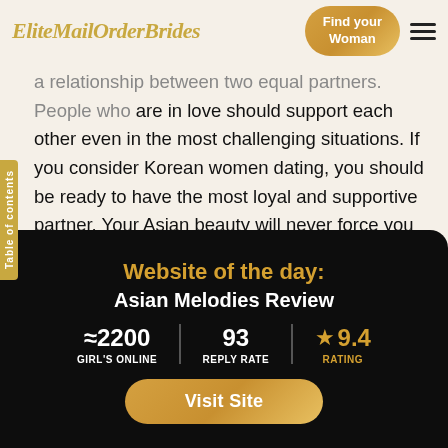EliteMailOrderBrides | Find your Woman
a relationship between two equal partners. People who are in love should support each other even in the most challenging situations. If you consider Korean women dating, you should be ready to have the most loyal and supportive partner. Your Asian beauty will never force you to do something you don't want to. Instead, she will make sure that you feel comfortable and happy while staying in her arms.
Website of the day:
Asian Melodies Review
≈2200 GIRL'S ONLINE | 93 REPLY RATE | ★ 9.4 RATING
Visit Site